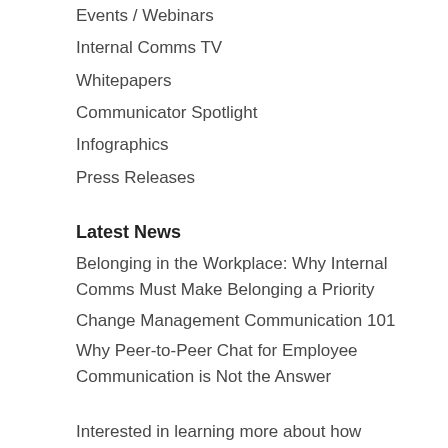Events / Webinars
Internal Comms TV
Whitepapers
Communicator Spotlight
Infographics
Press Releases
Latest News
Belonging in the Workplace: Why Internal Comms Must Make Belonging a Priority
Change Management Communication 101
Why Peer-to-Peer Chat for Employee Communication is Not the Answer
Interested in learning more about how theEMPLOYEEapp can help strengthen